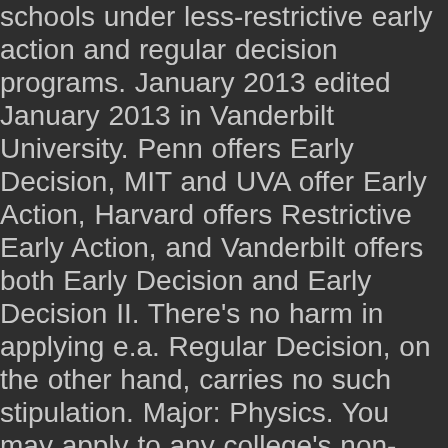schools under less-restrictive early action and regular decision programs. January 2013 edited January 2013 in Vanderbilt University. Penn offers Early Decision, MIT and UVA offer Early Action, Harvard offers Restrictive Early Action, and Vanderbilt offers both Early Decision and Early Decision II. There's no harm in applying e.a. Regular Decision, on the other hand, carries no such stipulation. Major: Physics. You may apply to any college's non-binding rolling admission program. I was thinking that, with the deadline approaching so quickly, we should start a thread for Vandy ED I applicants. Withdraw all other applications if accepted by ED. ED applications are due in early November and most schools will notify of their decision in Mid-December. You're not bound to a school and you'll have until May 1 to decide whether to attend. Vanderbilt has three rounds of admissions: Early Decision I, Early Decision II, and Regular. First, let's crunch the numbers. Applying early decision to Vanderbilt, what are my chances? My top choice school is UNC Chapel Hill. More information for visiting